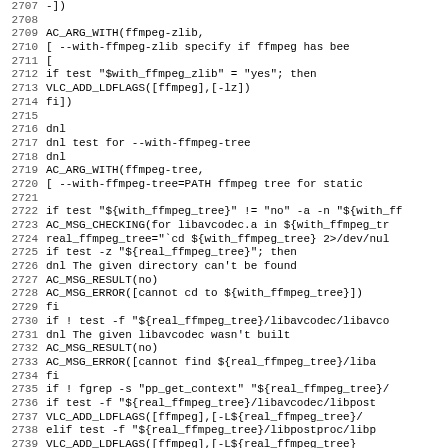Source code listing, lines 2707-2739, autoconf/configure script
2707   -])
2708
2709 AC_ARG_WITH(ffmpeg-zlib,
2710     [   --with-ffmpeg-zlib   specify if ffmpeg has bee
2711     [
2712       if test "$with_ffmpeg_zlib" = "yes"; then
2713                 VLC_ADD_LDFLAGS([ffmpeg],[-lz])
2714       fi])
2715
2716 dnl
2717 dnl test for --with-ffmpeg-tree
2718 dnl
2719 AC_ARG_WITH(ffmpeg-tree,
2720     [   --with-ffmpeg-tree=PATH ffmpeg tree for static
2721
2722 if test "${with_ffmpeg_tree}" != "no" -a -n "${with_ff
2723   AC_MSG_CHECKING(for libavcodec.a in ${with_ffmpeg_tr
2724   real_ffmpeg_tree="`cd ${with_ffmpeg_tree} 2>/dev/nul
2725   if test -z "${real_ffmpeg_tree}"; then
2726       dnl  The given directory can't be found
2727       AC_MSG_RESULT(no)
2728       AC_MSG_ERROR([cannot cd to ${with_ffmpeg_tree}])
2729   fi
2730   if ! test -f "${real_ffmpeg_tree}/libavcodec/libavco
2731       dnl  The given libavcodec wasn't built
2732       AC_MSG_RESULT(no)
2733       AC_MSG_ERROR([cannot find ${real_ffmpeg_tree}/liba
2734   fi
2735   if ! fgrep -s "pp_get_context" "${real_ffmpeg_tree}/
2736       if test -f "${real_ffmpeg_tree}/libavcodec/libpost
2737           VLC_ADD_LDFLAGS([ffmpeg],[-L${real_ffmpeg_tree}/
2738       elif test -f "${real_ffmpeg_tree}/libpostproc/libp
2739           VLC_ADD_LDFLAGS([ffmpeg],[-L${real_ffmpeg_tree}